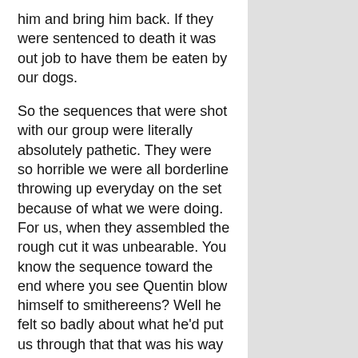him and bring him back. If they were sentenced to death it was out job to have them be eaten by our dogs.
So the sequences that were shot with our group were literally absolutely pathetic. They were so horrible we were all borderline throwing up everyday on the set because of what we were doing. For us, when they assembled the rough cut it was unbearable. You know the sequence toward the end where you see Quentin blow himself to smithereens? Well he felt so badly about what he'd put us through that that was his way of saying 'I'm going to blow myself up so you won't feel so bad.'"
For Robert Altman's A Perfect Couple (1979) Neeley co-wrote several of the songs heard in the movie. One of the songs "Searching For the Light" Neeley